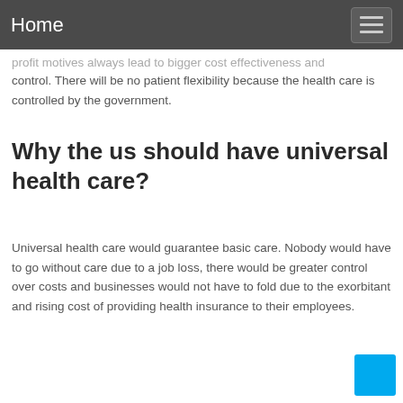Home
profit motives always lead to bigger cost effectiveness and control. There will be no patient flexibility because the health care is controlled by the government.
Why the us should have universal health care?
Universal health care would guarantee basic care. Nobody would have to go without care due to a job loss, there would be greater control over costs and businesses would not have to fold due to the exorbitant and rising cost of providing health insurance to their employees.